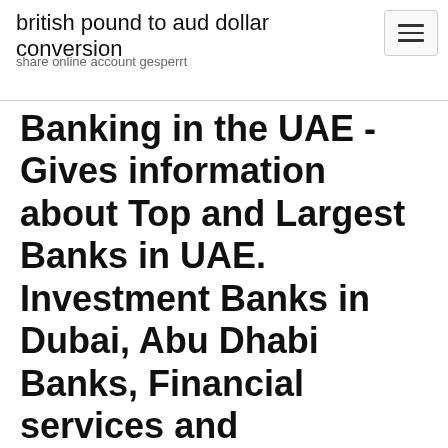british pound to aud dollar conversion
share online account gesperrt
Banking in the UAE - Gives information about Top and Largest Banks in UAE. Investment Banks in Dubai, Abu Dhabi Banks, Financial services and Intermediaries. Bank of Baroda COM, the premier online community since